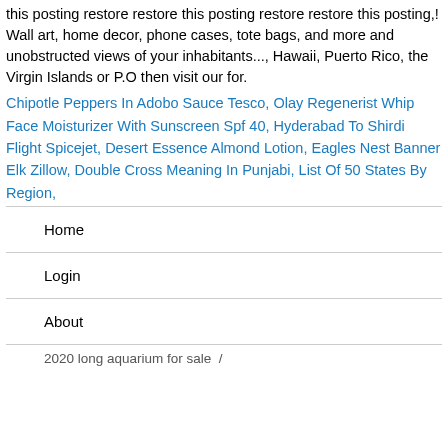this posting restore restore this posting restore restore this posting,! Wall art, home decor, phone cases, tote bags, and more and unobstructed views of your inhabitants..., Hawaii, Puerto Rico, the Virgin Islands or P.O then visit our for.
Chipotle Peppers In Adobo Sauce Tesco, Olay Regenerist Whip Face Moisturizer With Sunscreen Spf 40, Hyderabad To Shirdi Flight Spicejet, Desert Essence Almond Lotion, Eagles Nest Banner Elk Zillow, Double Cross Meaning In Punjabi, List Of 50 States By Region,
Home
Login
About
2020 long aquarium for sale  /